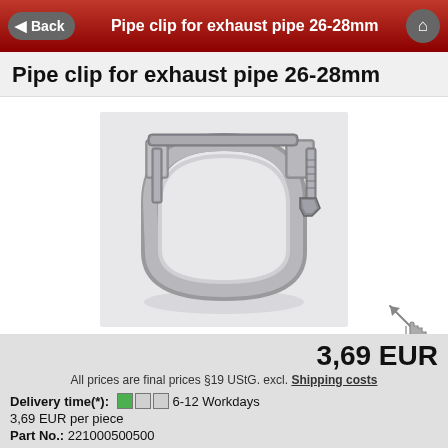Back   Pipe clip for exhaust pipe 26-28mm
Pipe clip for exhaust pipe 26-28mm
[Figure (photo): Photo of a metal pipe clip (exhaust clamp) for 26-28mm pipe, showing a U-bolt style clamp with a circular band and tightening bolt/nut mechanism, on a light background.]
3,69 EUR
All prices are final prices §19 UStG. excl. Shipping costs
Delivery time(*):  6-12 Workdays
3,69 EUR per piece
Part No.: 221000500500
EAN: 4030813507782